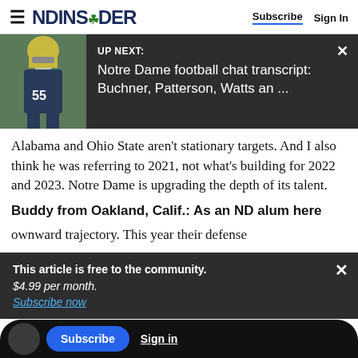NDINSiDER — Subscribe | Sign In
[Figure (screenshot): UP NEXT banner with football player image (jersey #55) and text: UP NEXT: Notre Dame football chat transcript: Buchner, Patterson, Watts an ...]
Alabama and Ohio State aren't stationary targets. And I also think he was referring to 2021, not what's building for 2022 and 2023. Notre Dame is upgrading the depth of its talent.
Buddy from Oakland, Calif.: As an ND alum here
ownward trajectory. This year their defense
This article is free to the community.
$4.99 per month.
Subscribe now
Subscribe   Sign in